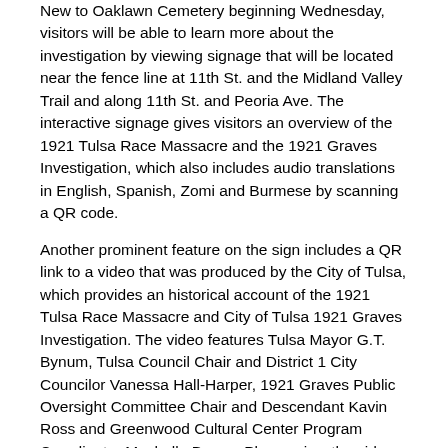New to Oaklawn Cemetery beginning Wednesday, visitors will be able to learn more about the investigation by viewing signage that will be located near the fence line at 11th St. and the Midland Valley Trail and along 11th St. and Peoria Ave. The interactive signage gives visitors an overview of the 1921 Tulsa Race Massacre and the 1921 Graves Investigation, which also includes audio translations in English, Spanish, Zomi and Burmese by scanning a QR code.
Another prominent feature on the sign includes a QR link to a video that was produced by the City of Tulsa, which provides an historical account of the 1921 Tulsa Race Massacre and City of Tulsa 1921 Graves Investigation. The video features Tulsa Mayor G.T. Bynum, Tulsa Council Chair and District 1 City Councilor Vanessa Hall-Harper, 1921 Graves Public Oversight Committee Chair and Descendant Kavin Ross and Greenwood Cultural Center Program Coordinator Mechelle Brown. Please view the video at: https://youtu.be/kjfdk_o7dQI
Test Excavation Guidelines and Photography/Video
Photography/video of human remains is strictly prohibited. To ensure no photographs or videos are taken of human remains, a screening fence will be placed around the excavation site.
During the test excavation, Oaklawn Cemetery will be closed to...